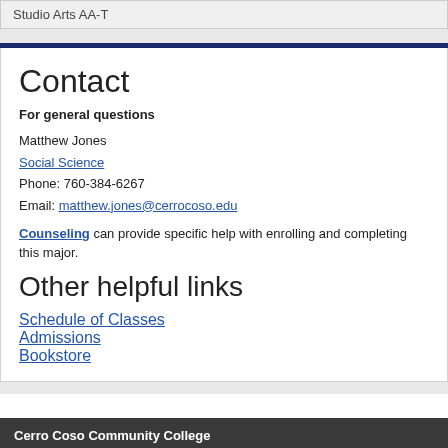Studio Arts AA-T
Contact
For general questions
Matthew Jones
Social Science
Phone: 760-384-6267
Email: matthew.jones@cerrocoso.edu
Counseling can provide specific help with enrolling and completing this major.
Other helpful links
Schedule of Classes
Admissions
Bookstore
Cerro Coso Community College